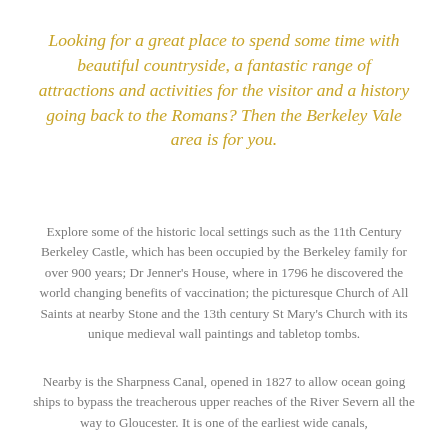Looking for a great place to spend some time with beautiful countryside, a fantastic range of attractions and activities for the visitor and a history going back to the Romans? Then the Berkeley Vale area is for you.
Explore some of the historic local settings such as the 11th Century Berkeley Castle, which has been occupied by the Berkeley family for over 900 years; Dr Jenner's House, where in 1796 he discovered the world changing benefits of vaccination; the picturesque Church of All Saints at nearby Stone and the 13th century St Mary's Church with its unique medieval wall paintings and tabletop tombs.
Nearby is the Sharpness Canal, opened in 1827 to allow ocean going ships to bypass the treacherous upper reaches of the River Severn all the way to Gloucester. It is one of the earliest wide canals,